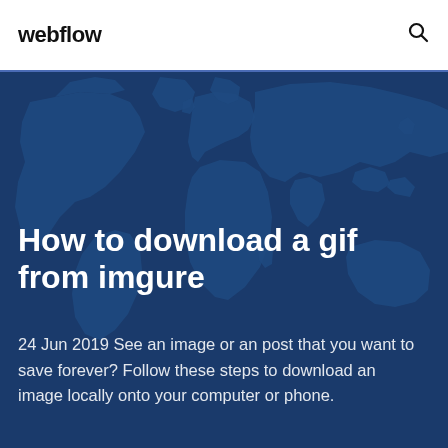webflow
[Figure (illustration): World map silhouette on dark blue background used as hero image]
How to download a gif from imgure
24 Jun 2019 See an image or an post that you want to save forever? Follow these steps to download an image locally onto your computer or phone.